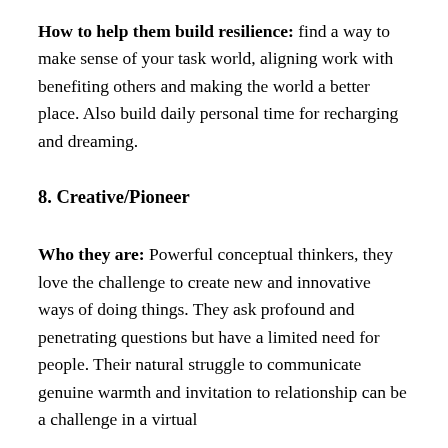How to help them build resilience: find a way to make sense of your task world, aligning work with benefiting others and making the world a better place. Also build daily personal time for recharging and dreaming.
8. Creative/Pioneer
Who they are: Powerful conceptual thinkers, they love the challenge to create new and innovative ways of doing things. They ask profound and penetrating questions but have a limited need for people. Their natural struggle to communicate genuine warmth and invitation to relationship can be a challenge in a virtual